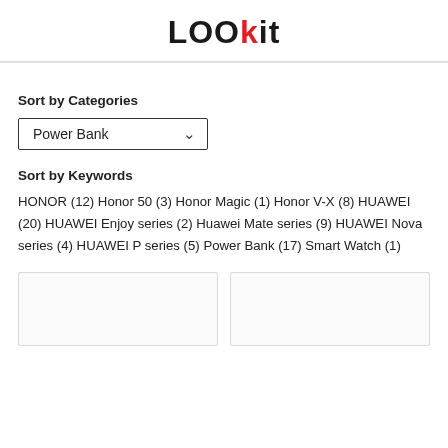LOOkit
Sort by Categories
Power Bank
Sort by Keywords
HONOR (12) Honor 50 (3) Honor Magic (1) Honor V-X (8) HUAWEI (20) HUAWEI Enjoy series (2) Huawei Mate series (9) HUAWEI Nova series (4) HUAWEI P series (5) Power Bank (17) Smart Watch (1)
[Figure (other): Two empty product card placeholders side by side]